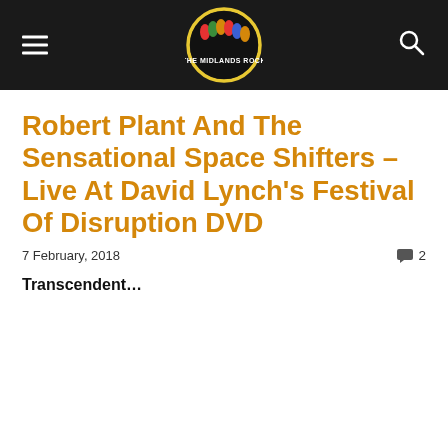THE MIDLANDS ROCK
Robert Plant And The Sensational Space Shifters – Live At David Lynch's Festival Of Disruption DVD
7 February, 2018   💬 2
Transcendent...